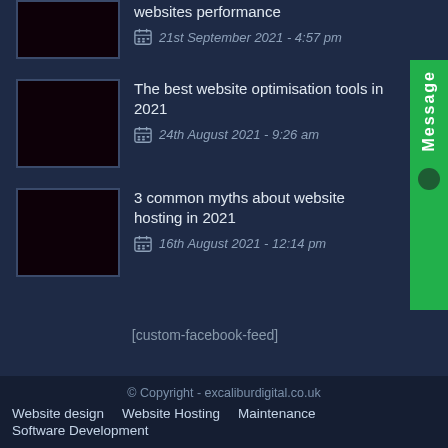[Figure (photo): Thumbnail image (dark/black) for website performance blog post]
websites performance
21st September 2021 - 4:57 pm
[Figure (photo): Thumbnail image (dark/black) for website optimisation tools blog post]
The best website optimisation tools in 2021
24th August 2021 - 9:26 am
[Figure (photo): Thumbnail image (dark/black) for website hosting myths blog post]
3 common myths about website hosting in 2021
16th August 2021 - 12:14 pm
[custom-facebook-feed]
© Copyright - excaliburdigital.co.uk
Website design   Website Hosting   Maintenance
Software Development